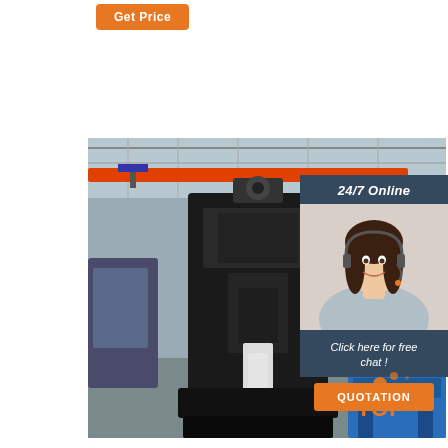Get Price
[Figure (photo): Industrial forging or press machine in a factory workshop with orange overhead crane beam and blue machinery in background]
[Figure (photo): Customer service woman with headset smiling, 24/7 Online support panel]
24/7 Online
Click here for free chat !
QUOTATION
[Figure (logo): TOP logo with orange splatter dots and orange/grey text]